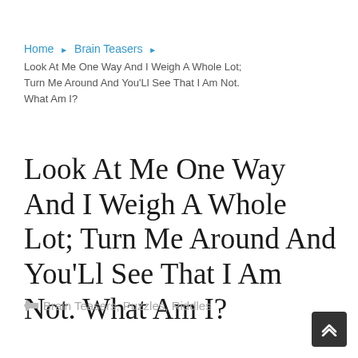Home ▶ Brain Teasers ▶
Look At Me One Way And I Weigh A Whole Lot; Turn Me Around And You'Ll See That I Am Not. What Am I?
Look At Me One Way And I Weigh A Whole Lot; Turn Me Around And You'Ll See That I Am Not. What Am I?
Brain Teasers, Puzzles, Riddles